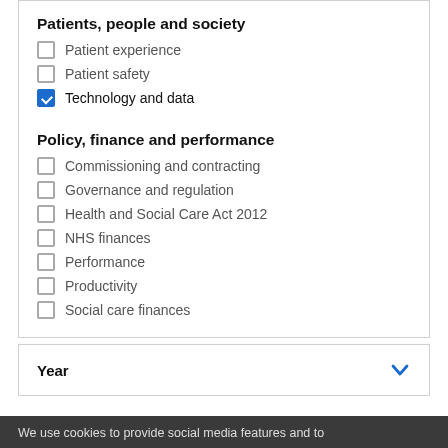Patients, people and society
Patient experience
Patient safety
Technology and data
Policy, finance and performance
Commissioning and contracting
Governance and regulation
Health and Social Care Act 2012
NHS finances
Performance
Productivity
Social care finances
Year
We use cookies to provide social media features and to